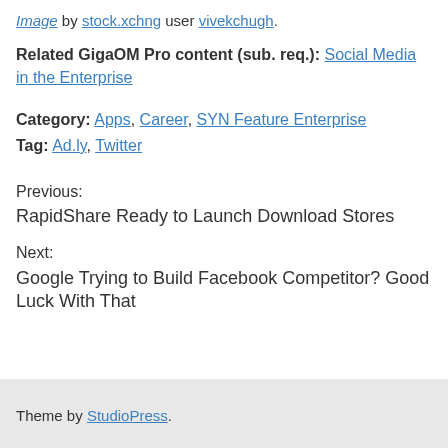Image by stock.xchng user vivekchugh.
Related GigaOM Pro content (sub. req.): Social Media in the Enterprise
Category: Apps, Career, SYN Feature Enterprise
Tag: Ad.ly, Twitter
Previous:
RapidShare Ready to Launch Download Stores
Next:
Google Trying to Build Facebook Competitor? Good Luck With That
Theme by StudioPress.